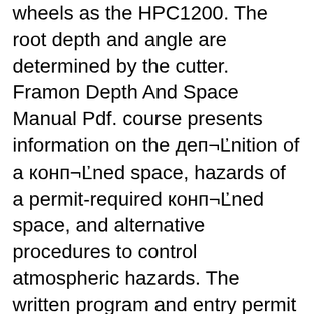wheels as the HPC1200. The root depth and angle are determined by the cutter. Framon Depth And Space Manual Pdf. course presents information on the деп¬Ґnition of a конп¬Ґned space, hazards of a permit-required конп¬Ґned space, and alternative procedures to control atmospheric hazards. The written program and entry permit system, rescue and emergency services,
National Locksmith Automobile Association Issue No. 33 вЂў 3 6. The ignition lock on the LS is found on the dash. Removing the ignition lock on the LS is quite simple and does not require any column disassembly. 7. Begin by